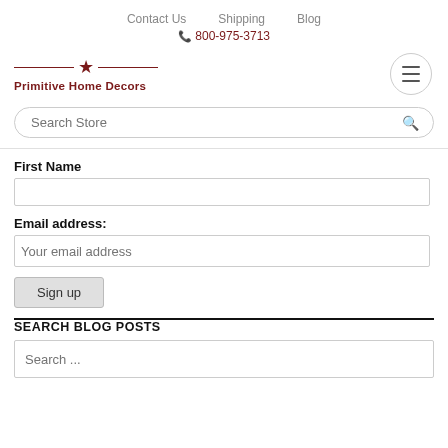Contact Us   Shipping   Blog
☎ 800-975-3713
[Figure (logo): Primitive Home Decors logo with star and horizontal lines]
Search Store
First Name
Email address:
Your email address
Sign up
SEARCH BLOG POSTS
Search ...